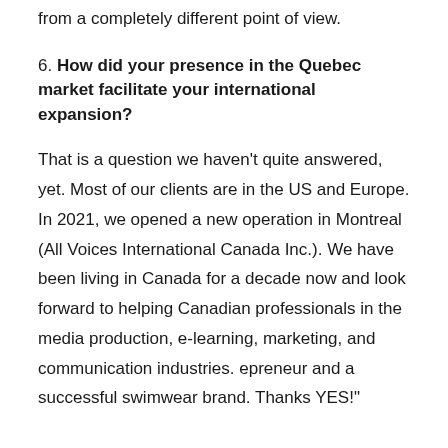from a completely different point of view.
6. How did your presence in the Quebec market facilitate your international expansion?
That is a question we haven't quite answered, yet. Most of our clients are in the US and Europe. In 2021, we opened a new operation in Montreal (All Voices International Canada Inc.). We have been living in Canada for a decade now and look forward to helping Canadian professionals in the media production, e-learning, marketing, and communication industries. epreneur and a successful swimwear brand. Thanks YES!"